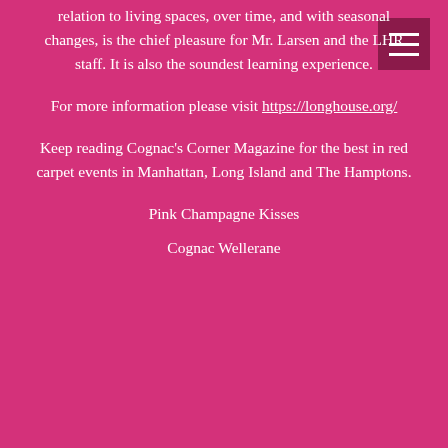relation to living spaces, over time, and with seasonal changes, is the chief pleasure for Mr. Larsen and the LHR staff. It is also the soundest learning experience.
For more information please visit https://longhouse.org/
Keep reading Cognac's Corner Magazine for the best in red carpet events in Manhattan, Long Island and The Hamptons.
Pink Champagne Kisses
Cognac Wellerane